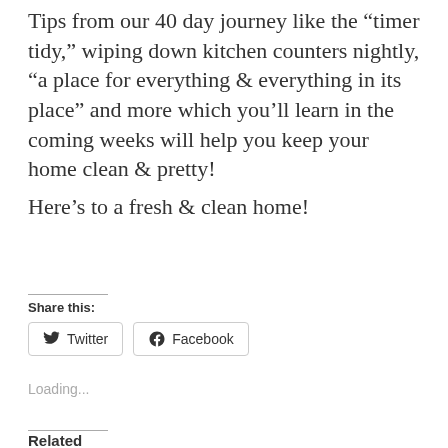Tips from our 40 day journey like the “timer tidy,” wiping down kitchen counters nightly, “a place for everything & everything in its place” and more which you’ll learn in the coming weeks will help you keep your home clean & pretty!
Here’s to a fresh & clean home!
Share this:
Twitter
Facebook
Loading...
Related